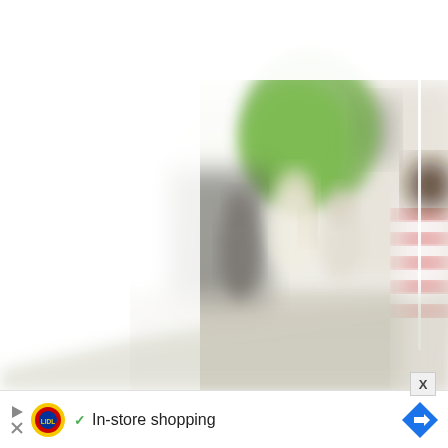[Figure (photo): Blurry outdoor scene with people standing near a building, green tree visible in background. On the right edge, partial view of a person wearing a red and white striped top. The left portion of the image is heavily overexposed/white.]
[Figure (infographic): Advertisement bar at the bottom showing Lidl logo, a checkmark icon, text 'In-store shopping', and a blue diamond-shaped navigation arrow on the right. On the far left are small play and close (X) buttons.]